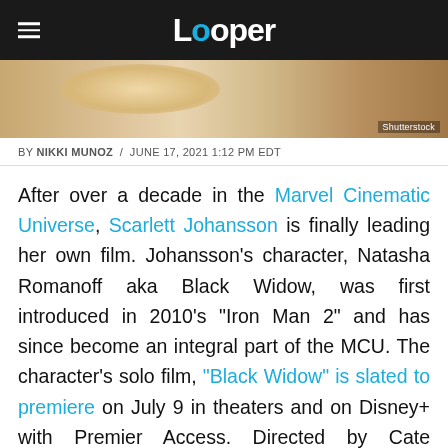Looper
[Figure (photo): Close-up photo of a blonde woman, attributed to Shutterstock]
BY NIKKI MUNOZ / JUNE 17, 2021 1:12 PM EDT
After over a decade in the Marvel Cinematic Universe, Scarlett Johansson is finally leading her own film. Johansson's character, Natasha Romanoff aka Black Widow, was first introduced in 2010's "Iron Man 2" and has since become an integral part of the MCU. The character's solo film, "Black Widow" is slated to premiere on July 9 in theaters and on Disney+ with Premier Access. Directed by Cate Shortland and written by Eric Pearson, "Black Widow"